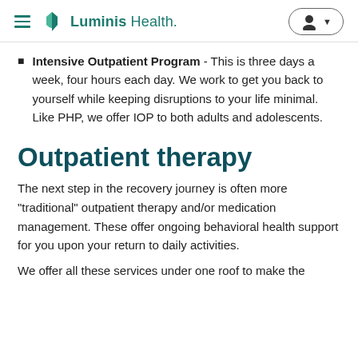Luminis Health
Intensive Outpatient Program - This is three days a week, four hours each day. We work to get you back to yourself while keeping disruptions to your life minimal. Like PHP, we offer IOP to both adults and adolescents.
Outpatient therapy
The next step in the recovery journey is often more "traditional" outpatient therapy and/or medication management. These offer ongoing behavioral health support for you upon your return to daily activities.
We offer all these services under one roof to make the